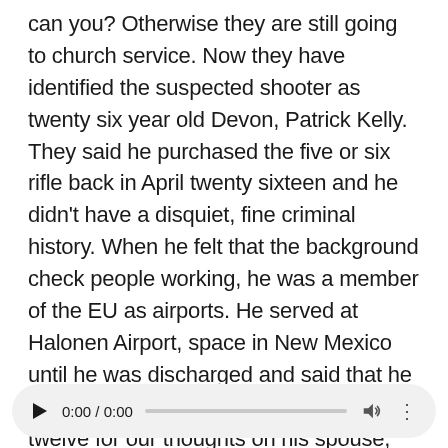can you? Otherwise they are still going to church service. Now they have identified the suspected shooter as twenty six year old Devon, Patrick Kelly. They said he purchased the five or six rifle back in April twenty sixteen and he didn't have a disquiet, fine criminal history. When he felt that the background check people working, he was a member of the EU as airports. He served at Halonen Airport, space in New Mexico until he was discharged and said that he was also court martial than two thousand twelve for our thoughts on his spouse, an assault on their child. He served. Year in prison and we see the bad conduct discharge and twenty fourteen and his rank was also reduce. Terrorism is a member of analyzes, and I make my my anxiety worse. Ok now is dead. Now this expected you to let the cherries they said. A local residents use their own
[Figure (other): Audio player bar with play button, time display 0:00 / 0:00, progress bar, volume icon, and more options icon]